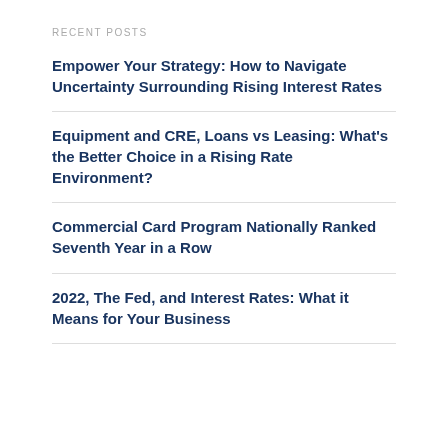RECENT POSTS
Empower Your Strategy: How to Navigate Uncertainty Surrounding Rising Interest Rates
Equipment and CRE, Loans vs Leasing: What's the Better Choice in a Rising Rate Environment?
Commercial Card Program Nationally Ranked Seventh Year in a Row
2022, The Fed, and Interest Rates: What it Means for Your Business